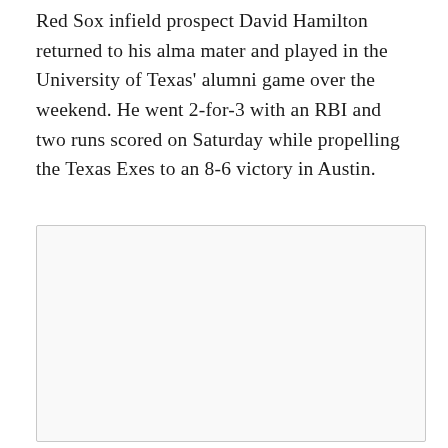Red Sox infield prospect David Hamilton returned to his alma mater and played in the University of Texas' alumni game over the weekend. He went 2-for-3 with an RBI and two runs scored on Saturday while propelling the Texas Exes to an 8-6 victory in Austin.
[Figure (photo): A white/light gray rectangular image placeholder with a thin gray border.]